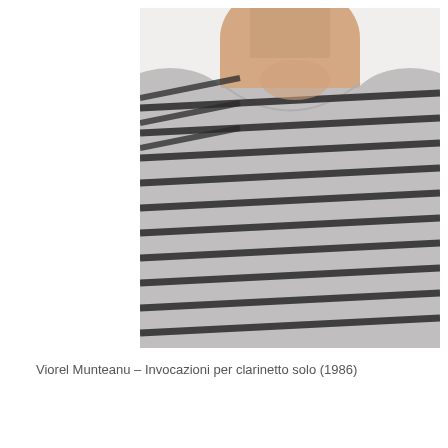[Figure (photo): Close-up photo of a person wearing a grey and black horizontal striped shirt, showing neck and upper chest area. The background is white/light grey.]
Viorel Munteanu – Invocazioni per clarinetto solo (1986)